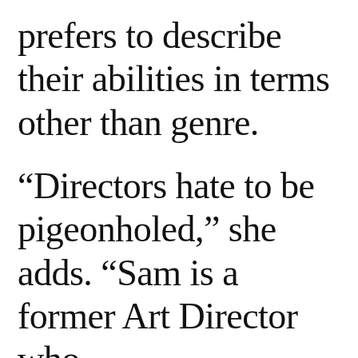prefers to describe their abilities in terms other than genre. “Directors hate to be pigeonholed,” she adds. “Sam is a former Art Director who